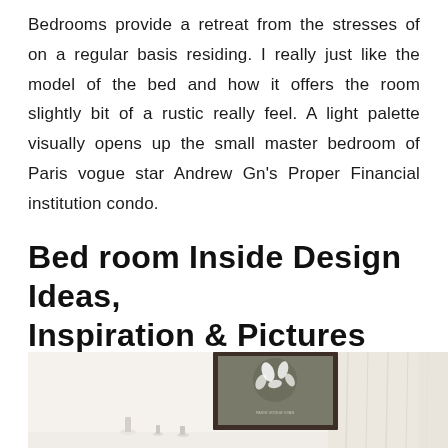Bedrooms provide a retreat from the stresses of on a regular basis residing. I really just like the model of the bed and how it offers the room slightly bit of a rustic really feel. A light palette visually opens up the small master bedroom of Paris vogue star Andrew Gn's Proper Financial institution condo.
Bed room Inside Design Ideas, Inspiration & Pictures
[Figure (photo): A bedroom interior photo showing a white wall with a framed botanical print in a dark frame, a sheer cream/beige curtain on the right side, and minimal white decor items on a surface in the foreground.]